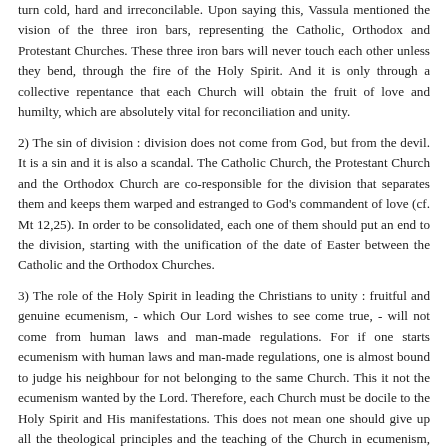turn cold, hard and irreconcilable. Upon saying this, Vassula mentioned the vision of the three iron bars, representing the Catholic, Orthodox and Protestant Churches. These three iron bars will never touch each other unless they bend, through the fire of the Holy Spirit. And it is only through a collective repentance that each Church will obtain the fruit of love and humilty, which are absolutely vital for reconciliation and unity.
2) The sin of division : division does not come from God, but from the devil. It is a sin and it is also a scandal. The Catholic Church, the Protestant Church and the Orthodox Church are co-responsible for the division that separates them and keeps them warped and estranged to God's commandent of love (cf. Mt 12,25). In order to be consolidated, each one of them should put an end to the division, starting with the unification of the date of Easter between the Catholic and the Orthodox Churches.
3) The role of the Holy Spirit in leading the Christians to unity : fruitful and genuine ecumenism, - which Our Lord wishes to see come true, - will not come from human laws and man-made regulations. For if one starts ecumenism with human laws and man-made regulations, one is almost bound to judge his neighbour for not belonging to the same Church. This it not the ecumenism wanted by the Lord. Therefore, each Church must be docile to the Holy Spirit and His manifestations. This does not mean one should give up all the theological principles and the teaching of the Church in ecumenism, but rather to allow the Holy Spirit to make the letters alive and to lead the ecumenical actions towards the unity, which will be in the heart and pleasing to God (cf. Jn 17,21).
Vassula's address on unity was so spiritually, theologically and biblically rich, and at the same time, it shed much light on the Holy Scriptures and on the present situ